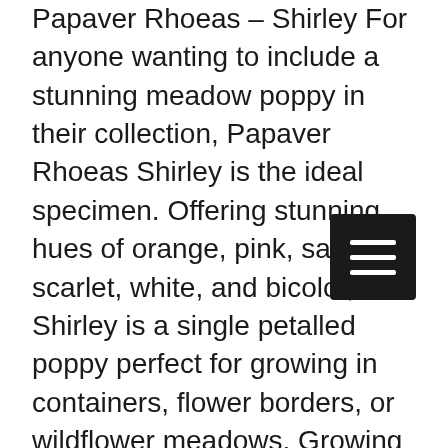Papaver Rhoeas – Shirley For anyone wanting to include a stunning meadow poppy in their collection, Papaver Rhoeas Shirley is the ideal specimen. Offering stunning hues of orange, pink, salmon, scarlet, white, and bicolor, Shirley is a single petalled poppy perfect for growing in containers, flower borders, or wildflower meadows. Growing to between two and three feet in height, Shirley thrives in most garden soils and puts on a stunning summer show. Starting to flower in June, plants will continue developing blooms up until the first frosts of the year,